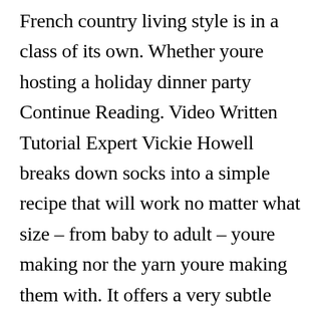French country living style is in a class of its own. Whether youre hosting a holiday dinner party Continue Reading. Video Written Tutorial Expert Vickie Howell breaks down socks into a simple recipe that will work no matter what size – from baby to adult – youre making nor the yarn youre making them with. It offers a very subtle blend of pure romance and Continue Reading. Look through living room pictures in different colors and styles and when you find a french count[CLOSE X]g room design
[Figure (other): Close button overlay with 'CLOSE X' text on dark background with downward arrow]